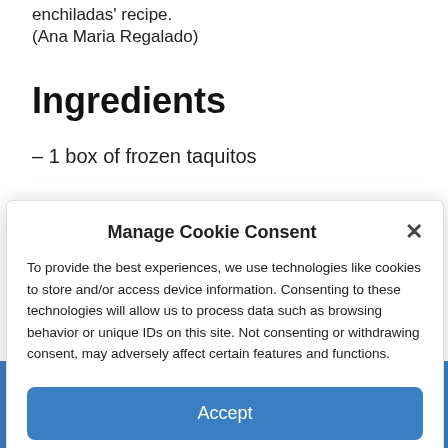enchiladas' recipe.
(Ana Maria Regalado)
Ingredients
– 1 box of frozen taquitos
– 1 bowl of Mexican blend cheese
– 3 ...
Manage Cookie Consent

To provide the best experiences, we use technologies like cookies to store and/or access device information. Consenting to these technologies will allow us to process data such as browsing behavior or unique IDs on this site. Not consenting or withdrawing consent, may adversely affect certain features and features.
Accept
Cookie Policy
TIKTOK'S 'PASTA CHIPS' TREND TURNS THE ITALIAN DISH INTO SNACKABLE FINGER FOOD